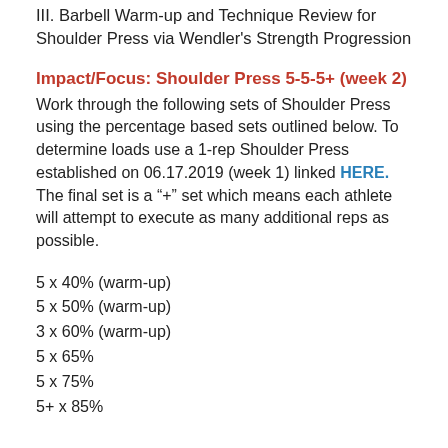III. Barbell Warm-up and Technique Review for Shoulder Press via Wendler's Strength Progression
Impact/Focus: Shoulder Press 5-5-5+ (week 2)
Work through the following sets of Shoulder Press using the percentage based sets outlined below. To determine loads use a 1-rep Shoulder Press established on 06.17.2019 (week 1) linked HERE. The final set is a “+” set which means each athlete will attempt to execute as many additional reps as possible.
5 x 40% (warm-up)
5 x 50% (warm-up)
3 x 60% (warm-up)
5 x 65%
5 x 75%
5+ x 85%